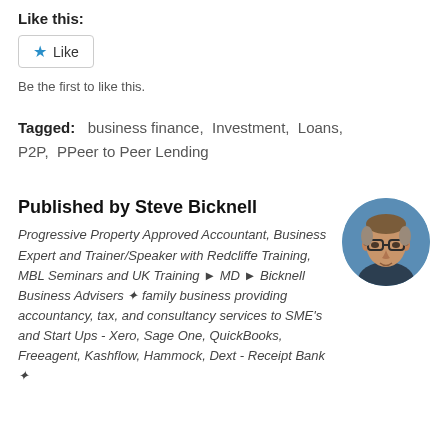Like this:
Like
Be the first to like this.
Tagged:   business finance,  Investment,  Loans,  P2P,  PPeer to Peer Lending
Published by Steve Bicknell
[Figure (photo): Circular portrait photo of Steve Bicknell, a middle-aged man with glasses and grey/brown hair wearing a dark suit, against a blue background.]
Progressive Property Approved Accountant, Business Expert and Trainer/Speaker with Redcliffe Training, MBL Seminars and UK Training ► MD ► Bicknell Business Advisers ✾ family business providing accountancy, tax, and consultancy services to SME's and Start Ups - Xero, Sage One, QuickBooks, Freeagent, Kashflow, Hammock, Dext - Receipt Bank ✾